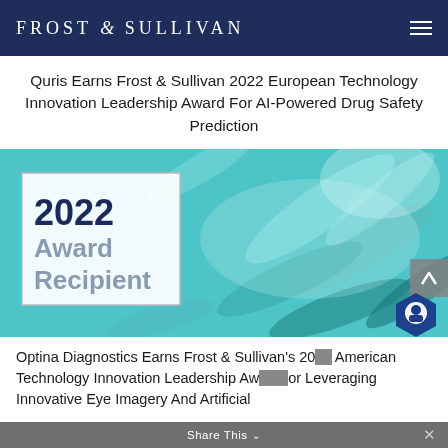FROST & SULLIVAN
Quris Earns Frost & Sullivan 2022 European Technology Innovation Leadership Award For AI-Powered Drug Safety Prediction
[Figure (photo): Photo of pharmaceutical pills/capsules with teal/blue coloring, overlaid with a white card reading '2022 Award Recipient']
Optina Diagnostics Earns Frost & Sullivan's 20[22] American Technology Innovation Leadership Aw[ard] for Leveraging Innovative Eye Imagery And Artificial [Intelligence…]